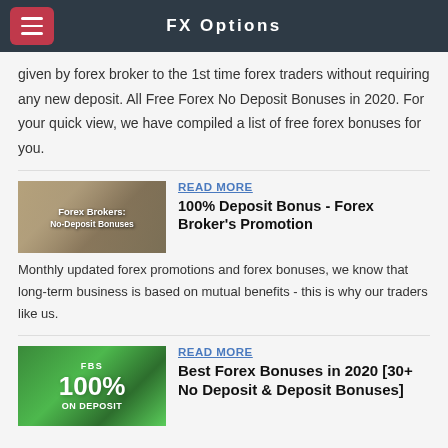FX Options
given by forex broker to the 1st time forex traders without requiring any new deposit. All Free Forex No Deposit Bonuses in 2020. For your quick view, we have compiled a list of free forex bonuses for you.
[Figure (illustration): Forex Brokers: No-Deposit Bonuses promotional image with financial imagery]
READ MORE
100% Deposit Bonus - Forex Broker's Promotion
Monthly updated forex promotions and forex bonuses, we know that long-term business is based on mutual benefits - this is why our traders like us.
[Figure (illustration): FBS 100% ON DEPOSIT promotional banner with green background]
READ MORE
Best Forex Bonuses in 2020 [30+ No Deposit & Deposit Bonuses]